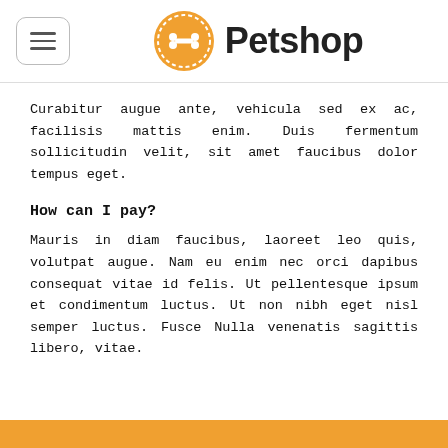Petshop
Curabitur augue ante, vehicula sed ex ac, facilisis mattis enim. Duis fermentum sollicitudin velit, sit amet faucibus dolor tempus eget.
How can I pay?
Mauris in diam faucibus, laoreet leo quis, volutpat augue. Nam eu enim nec orci dapibus consequat vitae id felis. Ut pellentesque ipsum et condimentum luctus. Ut non nibh eget nisl semper luctus. Fusce Nulla venenatis sagittis libero, vitae.